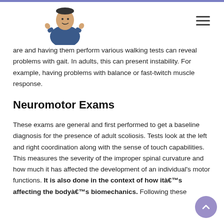are and having them perform various walking tests can reveal problems with gait. In adults, this can present instability. For example, having problems with balance or fast-twitch muscle response.
Neuromotor Exams
These exams are general and first performed to get a baseline diagnosis for the presence of adult scoliosis. Tests look at the left and right coordination along with the sense of touch capabilities. This measures the severity of the improper spinal curvature and how much it has affected the development of an individual's motor functions. It is also done in the context of how itâ€™s affecting the bodyâ€™s biomechanics. Following these